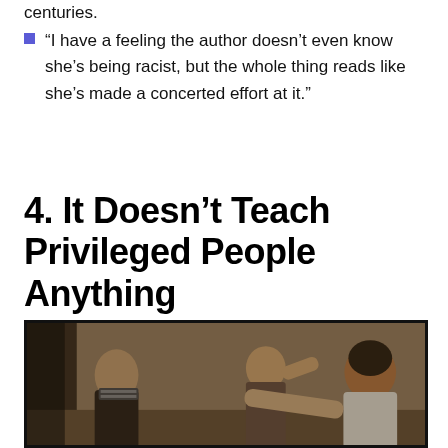centuries.
“I have a feeling the author doesn’t even know she’s being racist, but the whole thing reads like she’s made a concerted effort at it.”
4. It Doesn’t Teach Privileged People Anything
[Figure (photo): A video screenshot showing several people in what appears to be a confrontation or struggle scene indoors. A man with light hair is visible in the background, and figures in the foreground appear to be in physical contact.]